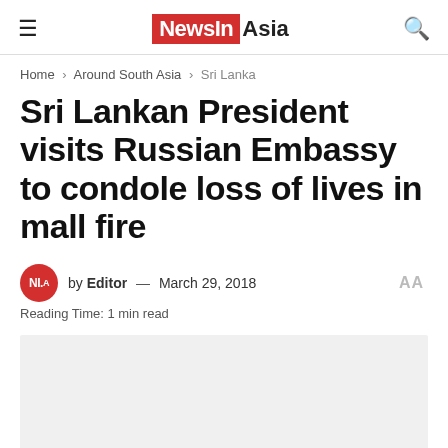NewsIn Asia
Home > Around South Asia > Sri Lanka
Sri Lankan President visits Russian Embassy to condole loss of lives in mall fire
by Editor — March 29, 2018
Reading Time: 1 min read
[Figure (photo): Article image placeholder (light gray box)]